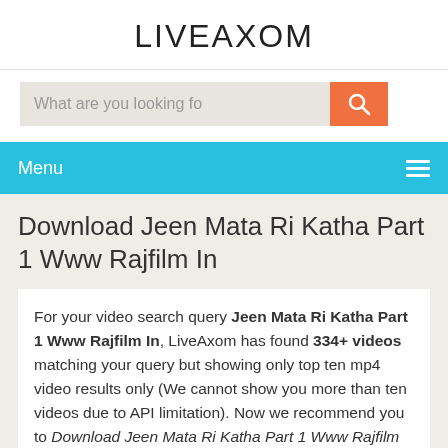LIVEAXOM
[Figure (screenshot): Search bar with text 'What are you looking fo' and an orange search button with magnifying glass icon]
Menu
Download Jeen Mata Ri Katha Part 1 Www Rajfilm In
For your video search query Jeen Mata Ri Katha Part 1 Www Rajfilm In, LiveAxom has found 334+ videos matching your query but showing only top ten mp4 video results only (We cannot show you more than ten videos due to API limitation). Now we recommend you to Download Jeen Mata Ri Katha Part 1 Www Rajfilm In